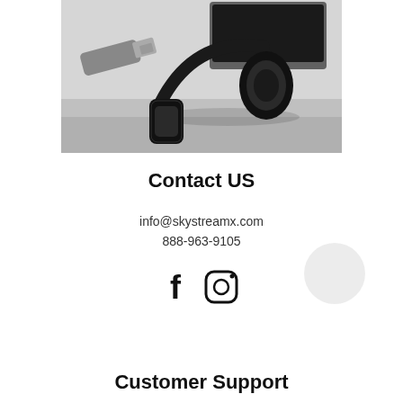[Figure (photo): Photo of headphones, USB drive, and laptop on a light gray surface/desk]
Contact US
info@skystreamx.com
888-963-9105
[Figure (illustration): Facebook and Instagram social media icons]
Customer Support